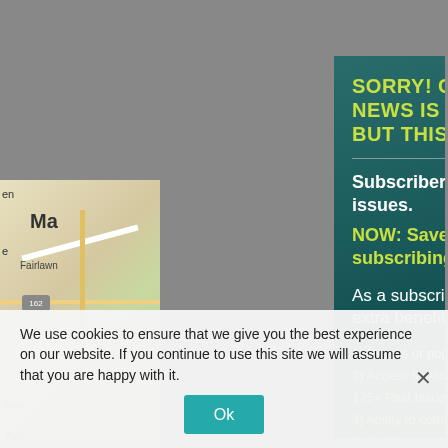[Figure (screenshot): Background showing a map partially visible on the left side with green and beige road map colors, Fairlawn label, route 162 badge, and partial text 'Ma' and 'en' visible]
SORRY! CURRENT NEWS IS FREE, BUT THIS IS ARCHIVED.
Subscribers can read past issues.
NOW: Save over 70% by subscribing for 1 year!
As a subscriber, you'll enjoy extra benefits:
1) No ads or popups;
2) Access to Archive of 9500+ articles in 175+ Past Issues;
3) Ability to comment on the PDF;
4) Satisfaction of supporting cooperative work; and
5) Email notification of articles (2X/month). And More!
We use cookies to ensure that we give you the best experience on our website. If you continue to use this site we will assume that you are happy with it.
Ok